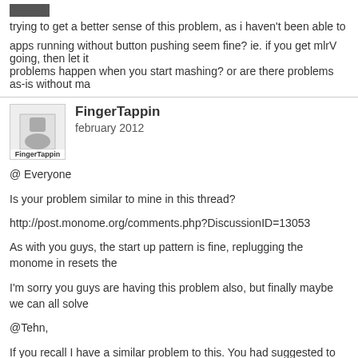[Figure (other): Small gray avatar/image placeholder bar]
trying to get a better sense of this problem, as i haven't been able to reproduce it w
apps running without button pushing seem fine? ie. if you get mlrV going, then let it problems happen when you start mashing? or are there problems as-is without ma
FingerTappin
february 2012
@ Everyone

Is your problem similar to mine in this thread?

http://post.monome.org/comments.php?DiscussionID=13053

As with you guys, the start up pattern is fine, replugging the monome in resets the

I'm sorry you guys are having this problem also, but finally maybe we can all solve

@Tehn,

If you recall I have a similar problem to this. You had suggested to me it may be the problem persists outside of the enclosure. I thought my USB port may just be unde it on my PC laptop, a pc desktop, and my friends macbook.

If it would be helpful to you, and others have a similar problem to mine, I can create know how to trigger the problem.